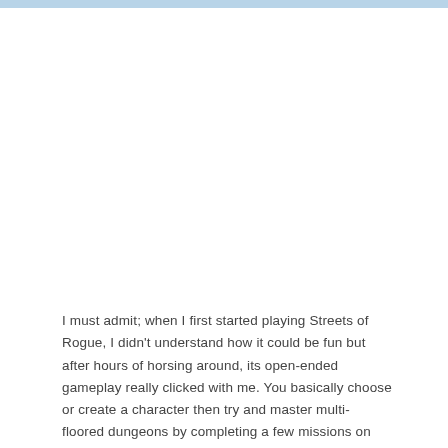I must admit; when I first started playing Streets of Rogue, I didn't understand how it could be fun but after hours of horsing around, its open-ended gameplay really clicked with me. You basically choose or create a character then try and master multi-floored dungeons by completing a few missions on each floor to unlock the exit. This may sound simple but each character plays radically different and your